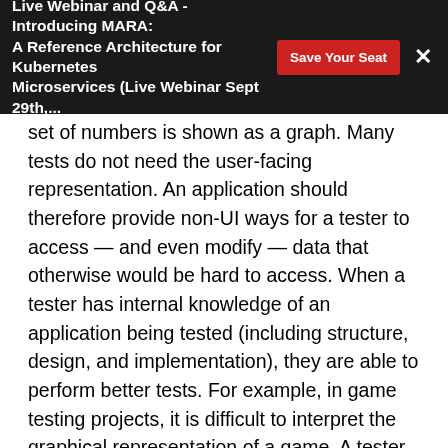Live Webinar and Q&A - Introducing MARA: A Reference Architecture for Kubernetes Microservices (Live Webinar Sept 29th,…
set of numbers is shown as a graph. Many tests do not need the user-facing representation. An application should therefore provide non-UI ways for a tester to access — and even modify — data that otherwise would be hard to access. When a tester has internal knowledge of an application being tested (including structure, design, and implementation), they are able to perform better tests. For example, in game testing projects, it is difficult to interpret the graphical representation of a game. A tester can better test a game with monsters if there is an API call to answer questions, such as "where is the monster?"  A game tester may also benefit from abilities like control over the games time clocks to slow down and freeze what is happening, or if the test can set a stage or trigger an event. However, this